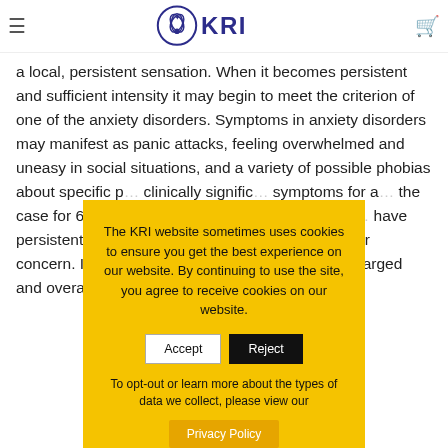KRI — Kundalini Research Institute
a local, persistent sensation. When it becomes persistent and sufficient intensity it may begin to meet the criterion of one of the anxiety disorders. Symptoms in anxiety disorders may manifest as panic attacks, feeling overwhelmed and uneasy in social situations, and a variety of possible phobias about specific p... clinically signific... symptoms for a... the case for 6.8... from one of the... generalized anxi... have persistent... different things... anticipated disa... for concern. Ind... worry. This may... leading to an enlarged and overactive brain region
The KRI website sometimes uses cookies to ensure you get the best experience on our website. By continuing to use the site, you agree to receive cookies on our website.

To opt-out or learn more about the types of data we collect, please view our Privacy Policy